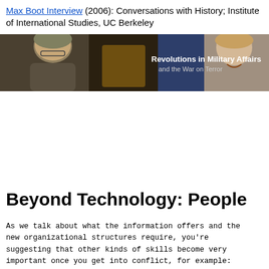Max Boot Interview (2006): Conversations with History; Institute of International Studies, UC Berkeley
[Figure (photo): Two men facing each other in a discussion setting with text overlay reading 'Revolutions in Military Affairs and the War on Terror']
Page 5 of 7
Beyond Technology: People
As we talk about what the information offers and the new organizational structures require, you're suggesting that other kinds of skills become very important once you get into conflict, for example: languages, understanding of a particular region or